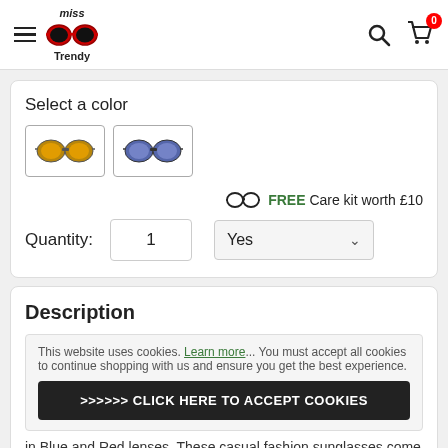[Figure (logo): Miss Trendy sunglasses logo with red-framed glasses icon and text 'miss Trendy']
Select a color
[Figure (photo): Two color swatches of sunglasses: orange/yellow mirrored lenses and blue/purple mirrored lenses]
FREE Care kit worth £10
Quantity: 1
Yes
Description
This website uses cookies. Learn more... You must accept all cookies to continue shopping with us and ensure you get the best experience.
>>>>>> CLICK HERE TO ACCEPT COOKIES
in Blue and Red lenses. These casual fashion sunglasses come